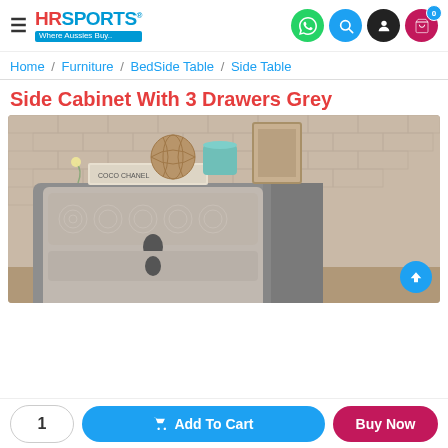HR Sports – Where Aussies Buy..
Home / Furniture / BedSide Table / Side Table
Side Cabinet With 3 Drawers Grey
[Figure (photo): Grey side cabinet with 3 drawers and decorative circular pattern on drawer fronts, with books, a woven vase, a teal mug and a framed picture on top, against a beige brick wall background.]
1  Add To Cart  Buy Now